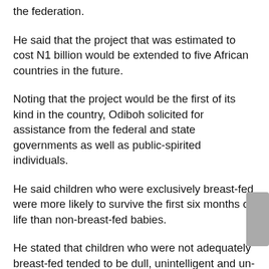the federation.
He said that the project that was estimated to cost N1 billion would be extended to five African countries in the future.
Noting that the project would be the first of its kind in the country, Odiboh solicited for assistance from the federal and state governments as well as public-spirited individuals.
He said children who were exclusively breast-fed were more likely to survive the first six months of life than non-breast-fed babies.
He stated that children who were not adequately breast-fed tended to be dull, unintelligent and un-sociable, adding that they were more likely to be ill than children who were exclusively breast-fed.